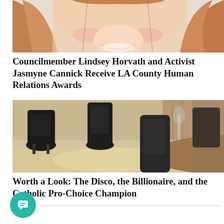[Figure (photo): Close-up photo showing the lower face and smile of a woman with reddish-brown hair against a light background]
Councilmember Lindsey Horvath and Activist Jasmyne Cannick Receive LA County Human Relations Awards
[Figure (photo): Interior photo of a restaurant or lounge with dark chairs, a round wooden table, and sunlight on the floor]
Worth a Look: The Disco, the Billionaire, and the Catholic Pro-Choice Champion
15